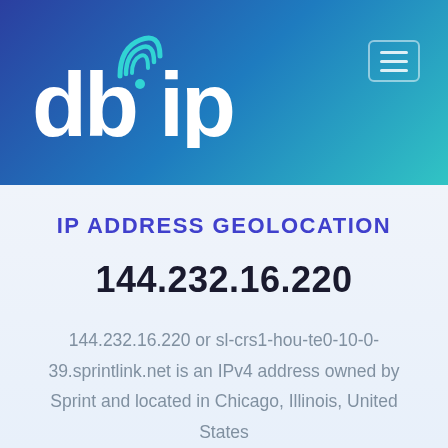[Figure (logo): db-ip.com logo with wifi signal icon above the letter i, white text on gradient blue-teal header background, with hamburger menu icon top right]
IP ADDRESS GEOLOCATION
144.232.16.220
144.232.16.220 or sl-crs1-hou-te0-10-0-39.sprintlink.net is an IPv4 address owned by Sprint and located in Chicago, Illinois, United States